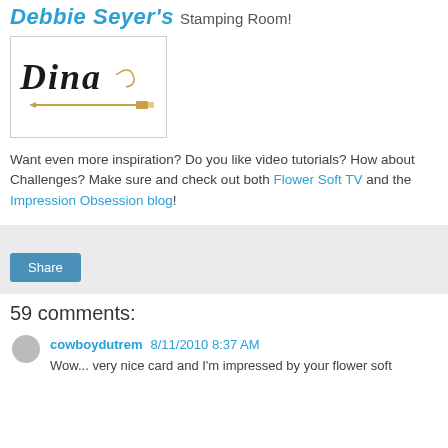Debbie Seyer's Stamping Room!
[Figure (logo): Dina logo with cursive text and decorative pen/pencil illustration on white background]
Want even more inspiration? Do you like video tutorials? How about Challenges? Make sure and check out both Flower Soft TV and the Impression Obsession blog!
Share
59 comments:
cowboydutrem 8/11/2010 8:37 AM
Wow... very nice card and I'm impressed by your flower soft